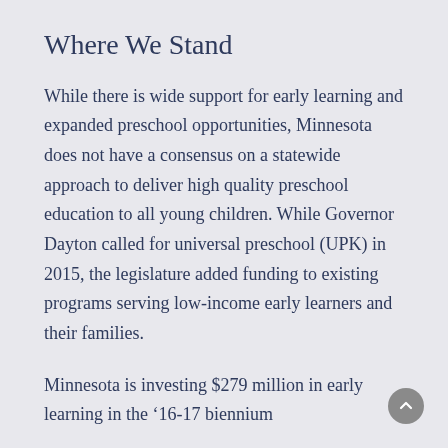Where We Stand
While there is wide support for early learning and expanded preschool opportunities, Minnesota does not have a consensus on a statewide approach to deliver high quality preschool education to all young children. While Governor Dayton called for universal preschool (UPK) in 2015, the legislature added funding to existing programs serving low-income early learners and their families.
Minnesota is investing $279 million in early learning in the ’16-17 biennium